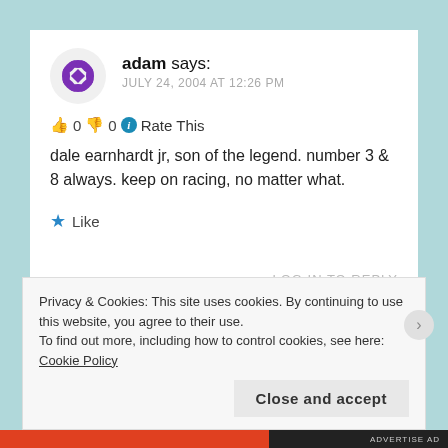adam says: JULY 24, 2004 AT 12:26 PM
👍 0 👎 0 ℹ Rate This
dale earnhardt jr, son of the legend. number 3 & 8 always. keep on racing, no matter what.
★ Like
LOG IN TO REPLY
Privacy & Cookies: This site uses cookies. By continuing to use this website, you agree to their use.
To find out more, including how to control cookies, see here: Cookie Policy
Close and accept